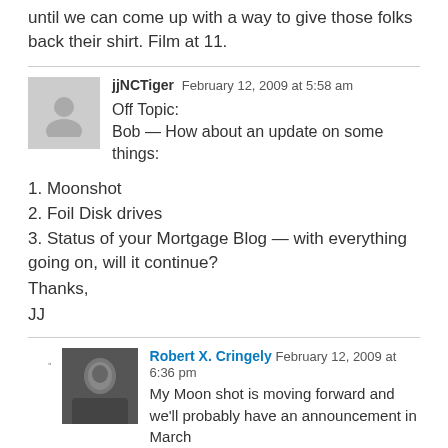until we can come up with a way to give those folks back their shirt. Film at 11.
jjNCTiger  February 12, 2009 at 5:58 am
Off Topic:
Bob — How about an update on some things:
1. Moonshot
2. Foil Disk drives
3. Status of your Mortgage Blog — with everything going on, will it continue?
Thanks,
JJ
Robert X. Cringely  February 12, 2009 at 6:36 pm
My Moon shot is moving forward and we'll probably have an announcement in March We finally have sample foil drives so some big outfit is going to have to make a decision soon whether to put one in their iPad.